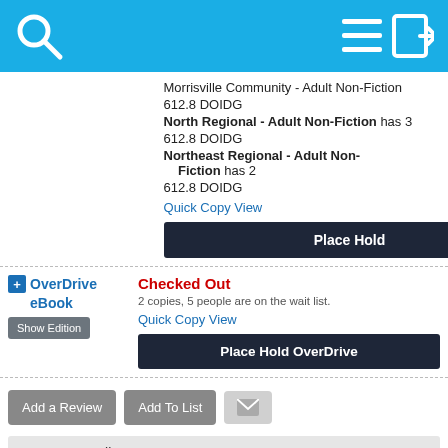Search / Menu / Login
Morrisville Community - Adult Non-Fiction
612.8 DOIDG
North Regional - Adult Non-Fiction has 3
612.8 DOIDG
Northeast Regional - Adult Non-Fiction has 2
612.8 DOIDG
Quick Copy View
Place Hold
+ OverDrive eBook
Show Edition
Checked Out
2 copies, 5 people are on the wait list.
Quick Copy View
Place Hold OverDrive
Add a Review
Add To List
► More Details
► Also in This Series
► Published Reviews